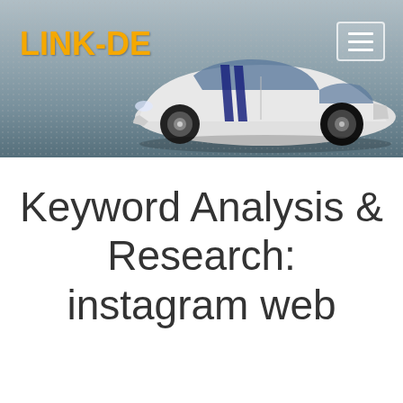[Figure (screenshot): Website header banner featuring a white sports car with blue racing stripes on a grey/blue background, with the orange bold logo 'LINK-DE' on the left and a hamburger menu button on the right]
Keyword Analysis & Research: instagram web